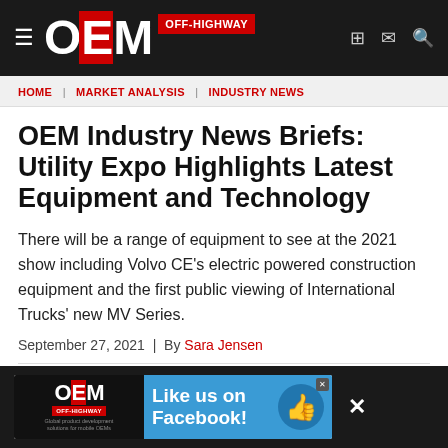OEM OFF-HIGHWAY
HOME | MARKET ANALYSIS | INDUSTRY NEWS
OEM Industry News Briefs: Utility Expo Highlights Latest Equipment and Technology
There will be a range of equipment to see at the 2021 show including Volvo CE's electric powered construction equipment and the first public viewing of International Trucks' new MV Series.
September 27, 2021 | By Sara Jensen
[Figure (advertisement): OEM Off-Highway Facebook advertisement banner: 'Like us on Facebook!' with thumbs up icon on blue background]